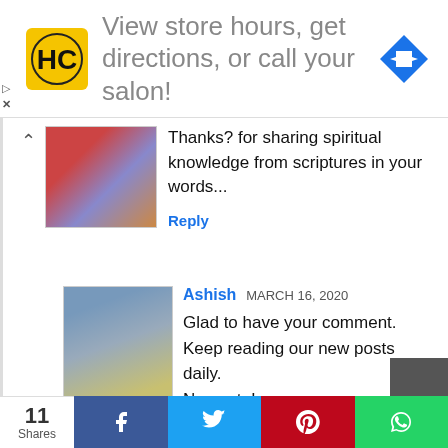[Figure (other): Advertisement banner with HC salon logo, text 'View store hours, get directions, or call your salon!' and a blue navigation arrow icon]
Thanks? for sharing spiritual knowledge from scriptures in your words...
Reply
Ashish MARCH 16, 2020
Glad to have your comment. Keep reading our new posts daily. Namaste!
[Figure (other): Social share bar with 11 Shares count, Facebook, Twitter, Pinterest, and WhatsApp buttons]